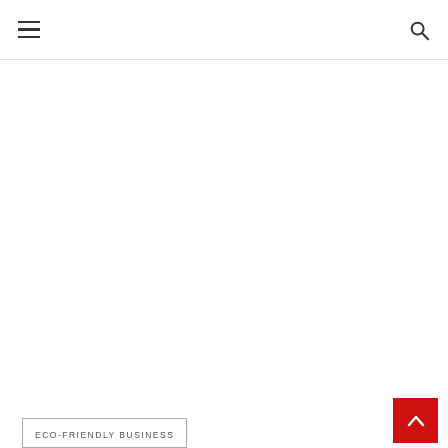navigation header with hamburger menu and search icon
[Figure (other): Scroll-to-top button, red square with white upward chevron arrow, bottom right corner]
ECO-FRIENDLY BUSINESS